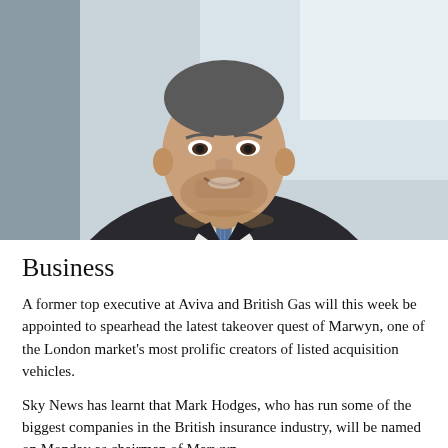[Figure (photo): Portrait photo of a smiling middle-aged man in a dark suit and patterned blue tie, with a light blurred background. He has grey stubble and appears to be seated.]
Business
A former top executive at Aviva and British Gas will this week be appointed to spearhead the latest takeover quest of Marwyn, one of the London market's most prolific creators of listed acquisition vehicles.
Sky News has learnt that Mark Hodges, who has run some of the biggest companies in the British insurance industry, will be named on Monday as chairman of Marwyn